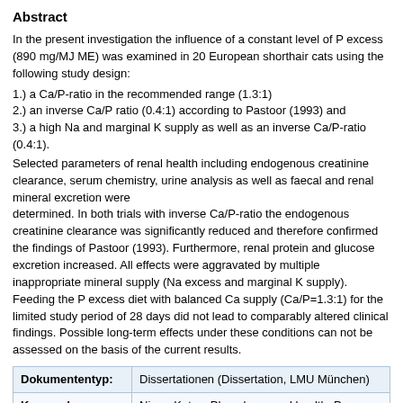Abstract
In the present investigation the influence of a constant level of P excess (890 mg/MJ ME) was examined in 20 European shorthair cats using the following study design:
1.) a Ca/P-ratio in the recommended range (1.3:1)
2.) an inverse Ca/P ratio (0.4:1) according to Pastoor (1993) and
3.) a high Na and marginal K supply as well as an inverse Ca/P-ratio (0.4:1).
Selected parameters of renal health including endogenous creatinine clearance, serum chemistry, urine analysis as well as faecal and renal mineral excretion were determined. In both trials with inverse Ca/P-ratio the endogenous creatinine clearance was significantly reduced and therefore confirmed the findings of Pastoor (1993). Furthermore, renal protein and glucose excretion increased. All effects were aggravated by multiple inappropriate mineral supply (Na excess and marginal K supply). Feeding the P excess diet with balanced Ca supply (Ca/P=1.3:1) for the limited study period of 28 days did not lead to comparably altered clinical findings. Possible long-term effects under these conditions can not be assessed on the basis of the current results.
|  |  |
| --- | --- |
| Dokumententyp: | Dissertationen (Dissertation, LMU München) |
| Keywords: | Niere, Katze, Phosphor, renal health, P excess |
| Themengebiete: | 500 Naturwissenschaften und Mathematik
500 Naturwissenschaften und Mathematik > 590 Tiere (Zoologie) |